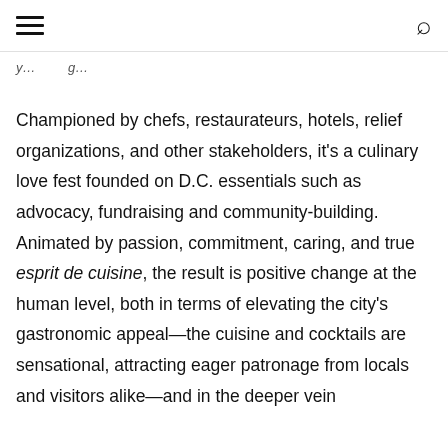≡  🔍
y... g...
Championed by chefs, restaurateurs, hotels, relief organizations, and other stakeholders, it's a culinary love fest founded on D.C. essentials such as advocacy, fundraising and community-building. Animated by passion, commitment, caring, and true esprit de cuisine, the result is positive change at the human level, both in terms of elevating the city's gastronomic appeal—the cuisine and cocktails are sensational, attracting eager patronage from locals and visitors alike—and in the deeper vein